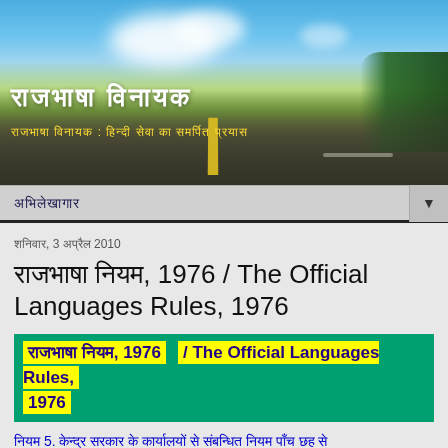[Figure (photo): Road banner header with blue sky, clouds, green trees on right, and a road with yellow center stripe in the foreground]
राजभाषा विनायक
राजभाषा विनायक : हिन्दी सेवा का समर्पित प्रयास
अभिलेखागर
शनिवार, 3 अप्रैल 2010
राजभाषा नियम, 1976 / The Official Languages Rules, 1976
राजभाषा नियम, 1976 / The Official Languages Rules, 1976
नियम 5. केन्द्र सरकार के कार्यालयों से संबन्धित नियम पाँच छह से